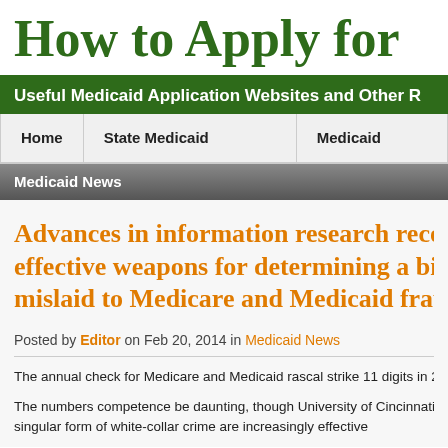How to Apply for
Useful Medicaid Application Websites and Other R
Home | State Medicaid Applications » | Medicaid Articles »
Medicaid News
Advances in information research recom effective weapons for determining a bill mislaid to Medicare and Medicaid frau
Posted by Editor on Feb 20, 2014 in Medicaid News
The annual check for Medicare and Medicaid rascal strike 11 digits in 2012. That's to
The numbers competence be daunting, though University of Cincinnati investigate sh singular form of white-collar crime are increasingly effective